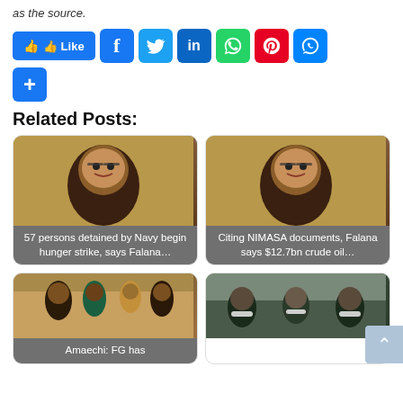as the source.
[Figure (screenshot): Social sharing buttons: Like, Facebook, Twitter, LinkedIn, WhatsApp, Pinterest, Messenger, and a plus button]
Related Posts:
[Figure (photo): Photo of a man with glasses smiling and gesturing with overlay text: 57 persons detained by Navy begin hunger strike, says Falana...]
[Figure (photo): Photo of a man with glasses smiling and gesturing with overlay text: Citing NIMASA documents, Falana says $12.7bn crude oil...]
[Figure (photo): Photo of group of people, one holding something, with overlay text: Amaechi: FG has]
[Figure (photo): Photo of people wearing face masks indoors]